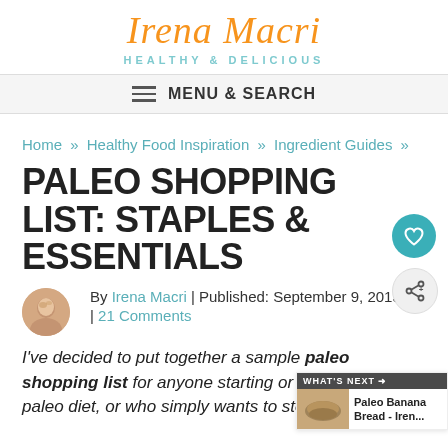Irena Macri – HEALTHY & DELICIOUS
MENU & SEARCH
Home » Healthy Food Inspiration » Ingredient Guides »
PALEO SHOPPING LIST: STAPLES & ESSENTIALS
By Irena Macri | Published: September 9, 2013 | 21 Comments
I've decided to put together a sample paleo shopping list for anyone starting or following a paleo diet, or who simply wants to stock up on healthy and wholesome foods that are as nutritious as...